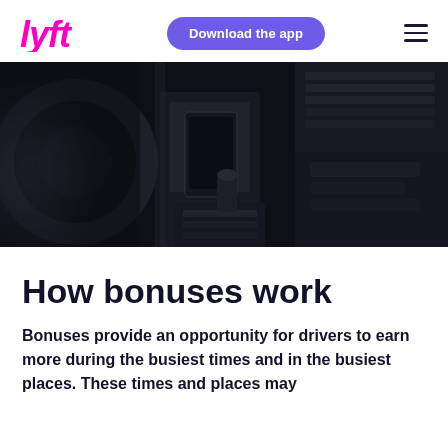Lyft — Download the app
[Figure (photo): Dark interior of a car showing the dashboard, center console, steering wheel, and a smartphone mounted on the console, all in dark tones.]
How bonuses work
Bonuses provide an opportunity for drivers to earn more during the busiest times and in the busiest places. These times and places may